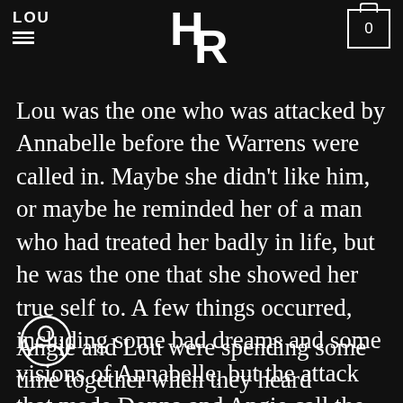LOU
Lou was the one who was attacked by Annabelle before the Warrens were called in. Maybe she didn't like him, or maybe he reminded her of a man who had treated her badly in life, but he was the one that she showed her true self to. A few things occurred, including some bad dreams and some visions of Annabelle, but the attack that made Donna and Angie call the Warrens was a physical one.
Angie and Lou were spending some time together when they heard movement in Donna's